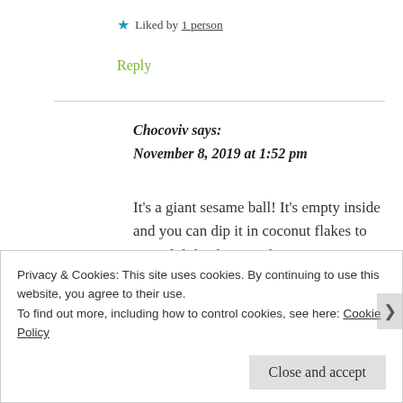★ Liked by 1 person
Reply
Chocoviv says:
November 8, 2019 at 1:52 pm
It's a giant sesame ball! It's empty inside and you can dip it in coconut flakes to eat… lol thanks! I wish I was
Privacy & Cookies: This site uses cookies. By continuing to use this website, you agree to their use.
To find out more, including how to control cookies, see here: Cookie Policy
Close and accept